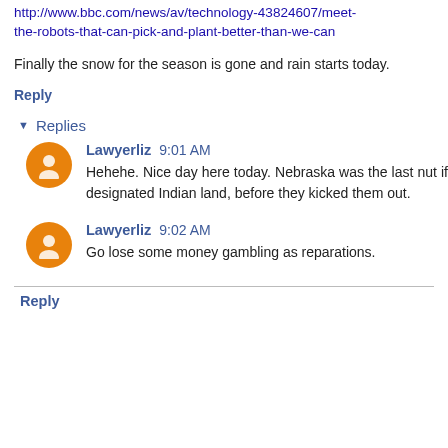http://www.bbc.com/news/av/technology-43824607/meet-the-robots-that-can-pick-and-plant-better-than-we-can
Finally the snow for the season is gone and rain starts today.
Reply
▾ Replies
Lawyerliz 9:01 AM
Hehehe. Nice day here today. Nebraska was the last nut if designated Indian land, before they kicked them out.
Lawyerliz 9:02 AM
Go lose some money gambling as reparations.
Reply